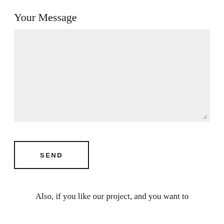Your Message
[Figure (other): Empty text area input field with light gray background and resize handle at bottom right]
SEND
Also, if you like our project, and you want to